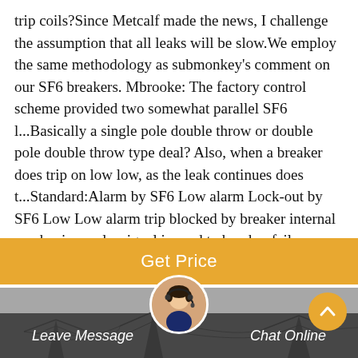trip coils?Since Metcalf made the news, I challenge the assumption that all leaks will be slow.We employ the same methodology as submonkey's comment on our SF6 breakers. Mbrooke: The factory control scheme provided two somewhat parallel SF6 l...Basically a single pole double throw or double pole double throw type deal? Also, when a breaker does trip on low low, as the leak continues does t...Standard:Alarm by SF6 Low alarm Lock-out by SF6 Low Low alarm trip blocked by breaker internal mechanism only, signal is send to breaker failure pr...Low-Cost Computers - Tech | seattle.gov
Get Price
[Figure (photo): Power line towers silhouette against a grey sky, with a customer service representative avatar overlay and a scroll-to-top button]
Leave Message
Chat Online